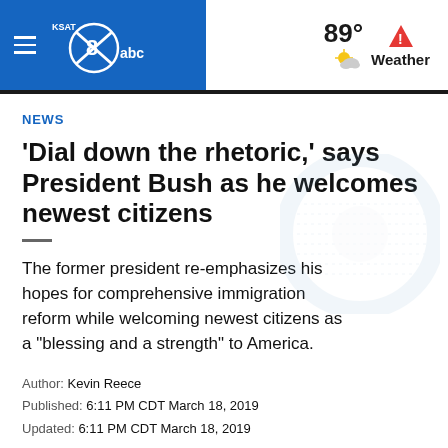KSAT abc — 89° Weather
NEWS
'Dial down the rhetoric,' says President Bush as he welcomes newest citizens
The former president re-emphasizes his hopes for comprehensive immigration reform while welcoming newest citizens as a "blessing and a strength" to America.
Author: Kevin Reece
Published: 6:11 PM CDT March 18, 2019
Updated: 6:11 PM CDT March 18, 2019